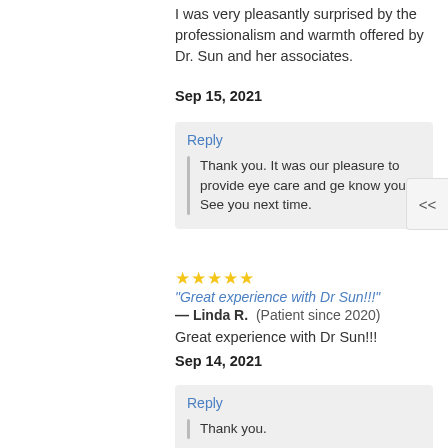I was very pleasantly surprised by the professionalism and warmth offered by Dr. Sun and her associates.
Sep 15, 2021
Reply
Thank you. It was our pleasure to provide eye care and get know you. See you next time.
"Great experience with Dr Sun!!!" — Linda R. (Patient since 2020)
Great experience with Dr Sun!!!
Sep 14, 2021
Reply
Thank you.